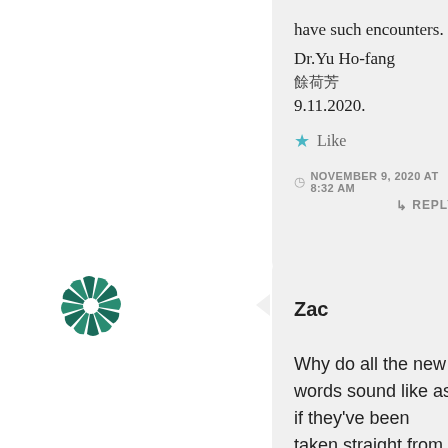have such encounters.
Dr.Yu Ho-fang
餘荷芳
9.11.2020.
Like
NOVEMBER 9, 2020 AT 8:32 AM
REPLY
[Figure (logo): Circular logo with teal/dark green leaf-like spokes radiating from center, forming a stylized sunburst or pinwheel shape]
Zac
Why do all the new words sound like as if they've been taken straight from